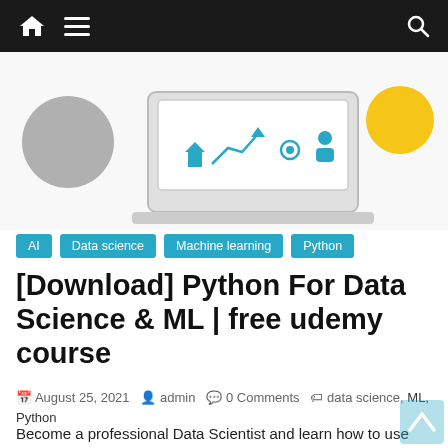Navigation bar with home, menu, and search icons
[Figure (illustration): Hero image showing a laptop screen with data science icons including a house, upward arrow chart, settings gear, and person icon, with a gray circular avatar on the left and a yellow circle on the right]
AI
Data science
Machine learning
Python
[Download] Python For Data Science & ML | free udemy course
August 25, 2021  admin  0 Comments  data science, ML, Python
Become a professional Data Scientist and learn how to use NumPy, Pandas, Machine Learning, and more in this free udemy course.